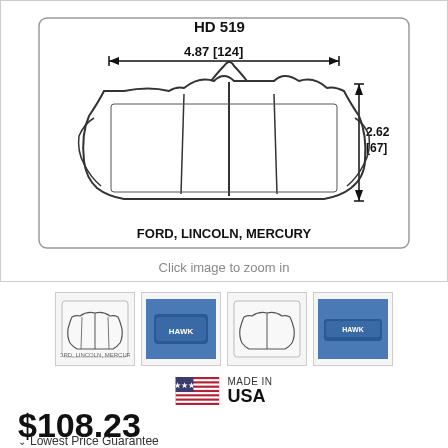[Figure (engineering-diagram): Technical drawing of a brake pad for Ford, Lincoln, Mercury vehicles. Shows dimensions: 4.87 [124] width and 2.62 [67] height with arrows indicating measurements. Part labeled HD 519 at top.]
Click image to zoom in
[Figure (illustration): Four product thumbnail images showing brake pad technical diagram and actual brake pad photos (blue pads)]
[Figure (illustration): Made in USA flag icon with text MADE IN USA]
$108.23
Lowest Price Guarantee